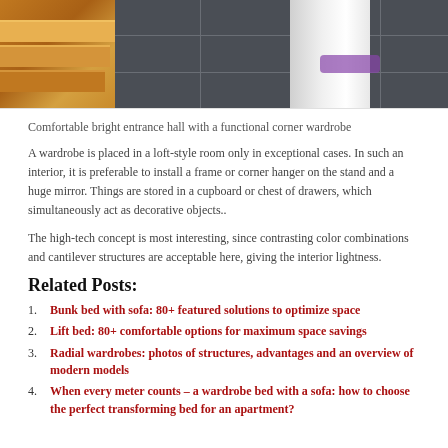[Figure (photo): Interior entrance hall with wooden stairs on the left and dark slate tile flooring, white corner wardrobe in background, skateboard visible]
Comfortable bright entrance hall with a functional corner wardrobe
A wardrobe is placed in a loft-style room only in exceptional cases. In such an interior, it is preferable to install a frame or corner hanger on the stand and a huge mirror. Things are stored in a cupboard or chest of drawers, which simultaneously act as decorative objects..
The high-tech concept is most interesting, since contrasting color combinations and cantilever structures are acceptable here, giving the interior lightness.
Related Posts:
Bunk bed with sofa: 80+ featured solutions to optimize space
Lift bed: 80+ comfortable options for maximum space savings
Radial wardrobes: photos of structures, advantages and an overview of modern models
When every meter counts – a wardrobe bed with a sofa: how to choose the perfect transforming bed for an apartment?